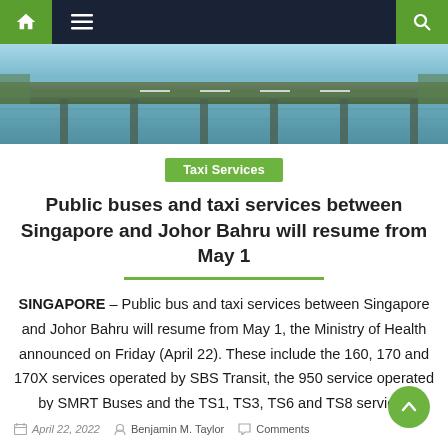Navigation bar with home, menu, and search icons
[Figure (photo): Aerial view of a road/bridge over water, likely the Causeway between Singapore and Johor Bahru]
Taxi Services
Public buses and taxi services between Singapore and Johor Bahru will resume from May 1
SINGAPORE – Public bus and taxi services between Singapore and Johor Bahru will resume from May 1, the Ministry of Health announced on Friday (April 22). These include the 160, 170 and 170X services operated by SBS Transit, the 950 service operated by SMRT Buses and the TS1, TS3, TS6 and TS8 services operated by [...]
April 22, 2022 · Benjamin M. Taylor · Comments